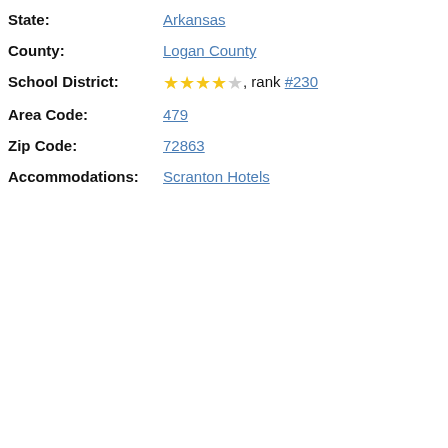State: Arkansas
County: Logan County
School District: ★★★★☆, rank #230
Area Code: 479
Zip Code: 72863
Accommodations: Scranton Hotels